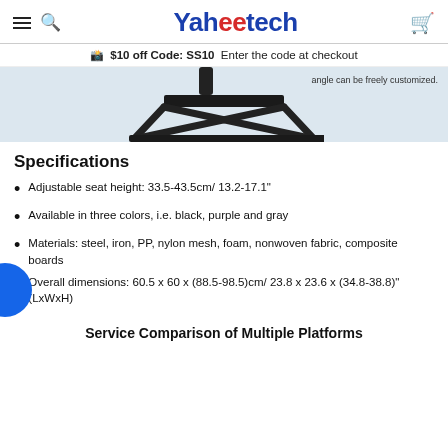Yaheetech
$10 off Code: SS10  Enter the code at checkout
[Figure (photo): Product photo showing the base/bottom of a black chair stand, with text 'angle can be freely customized.']
Specifications
Adjustable seat height: 33.5-43.5cm/ 13.2-17.1"
Available in three colors, i.e. black, purple and gray
Materials: steel, iron, PP, nylon mesh, foam, nonwoven fabric, composite boards
Overall dimensions: 60.5 x 60 x (88.5-98.5)cm/ 23.8 x 23.6 x (34.8-38.8)"(LxWxH)
Service Comparison of Multiple Platforms